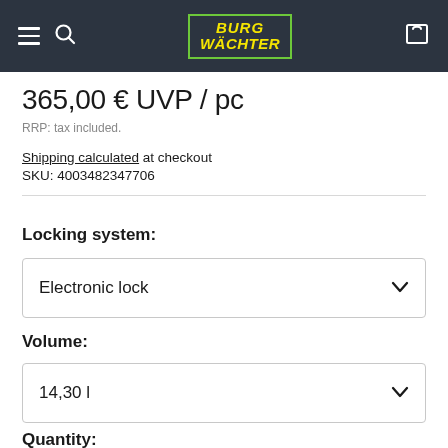BURG WÄCHTER navigation bar
365,00 € UVP / pc
RRP: tax included.
Shipping calculated at checkout
SKU: 4003482347706
Locking system:
Electronic lock
Volume:
14,30 l
Quantity: